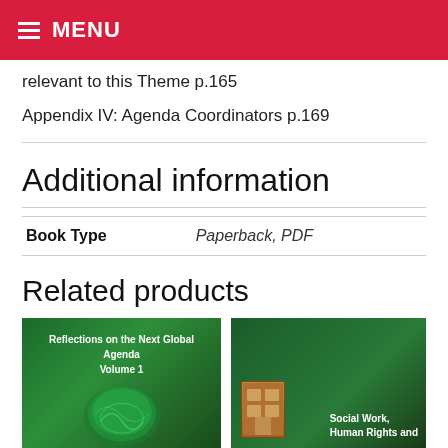MENU
relevant to this Theme p.165
Appendix IV: Agenda Coordinators p.169
Additional information
| Book Type | Paperback, PDF |
| --- | --- |
Related products
[Figure (photo): Book cover: Reflections on the Next Global Agenda Volume 1, green cover with globe]
[Figure (photo): Book cover: Social Work, Human Rights and — green cover with building image]